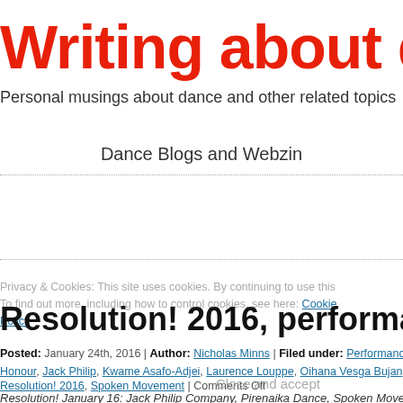Writing about dance
Personal musings about dance and other related topics
Dance Blogs and Webzines
Privacy & Cookies: This site uses cookies. By continuing to use this
Resolution! 2016, performances on January
To find out more, including how to control cookies, see here: Cookie Policy
Posted: January 24th, 2016 | Author: Nicholas Minns | Filed under: Performance | Tags: Honour, Jack Philip, Kwame Asafo-Adjei, Laurence Louppe, Oihana Vesga Bujan, Pirenaika, Resolution! 2016, Spoken Movement | Comments Off
Close and accept
Resolution! January 16: Jack Philip Company, Pirenaika Dance, Spoken Movement